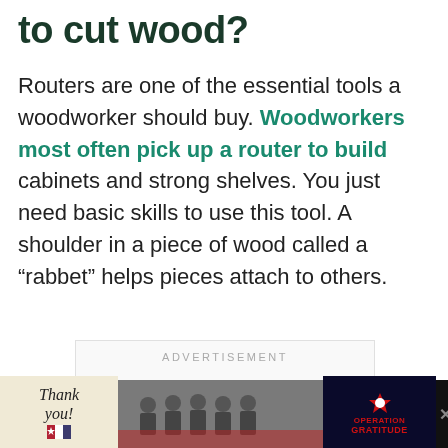to cut wood?
Routers are one of the essential tools a woodworker should buy. Woodworkers most often pick up a router to build cabinets and strong shelves. You just need basic skills to use this tool. A shoulder in a piece of wood called a “rabbet” helps pieces attach to others.
ADVERTISEMENT
[Figure (photo): Advertisement banner at the bottom showing a 'Thank you' message with a US flag pencil, soldiers in front of a fire engine, and Operation Gratitude logo on dark background. An X close button and a Wm degree symbol appear to the right.]